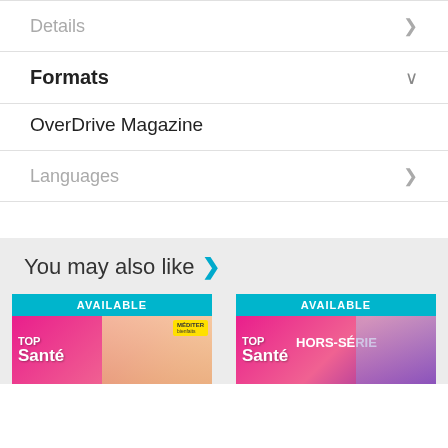Details
Formats
OverDrive Magazine
Languages
You may also like
[Figure (screenshot): Two magazine covers for Top Santé, both labeled AVAILABLE in a cyan bar. Left cover shows the standard Top Santé issue; right cover shows Top Santé Hors-Série issue.]